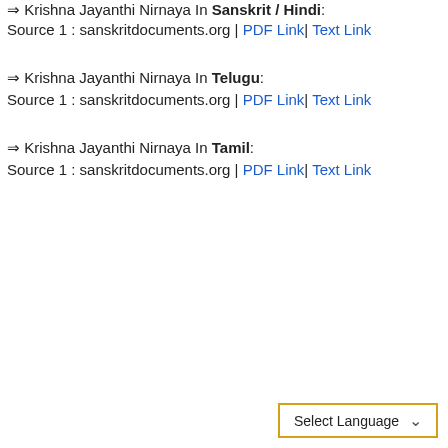⇒ Krishna Jayanthi Nirnaya In Sanskrit / Hindi:
Source 1 : sanskritdocuments.org | PDF Link | Text Link
⇒ Krishna Jayanthi Nirnaya In Telugu:
Source 1 : sanskritdocuments.org | PDF Link | Text Link
⇒ Krishna Jayanthi Nirnaya In Tamil:
Source 1 : sanskritdocuments.org | PDF Link | Text Link